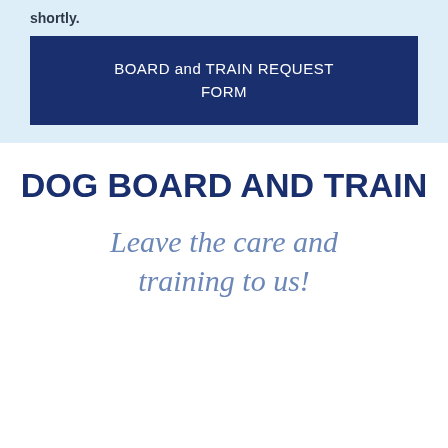shortly.
BOARD and TRAIN REQUEST FORM
DOG BOARD AND TRAIN
Leave the care and training to us!